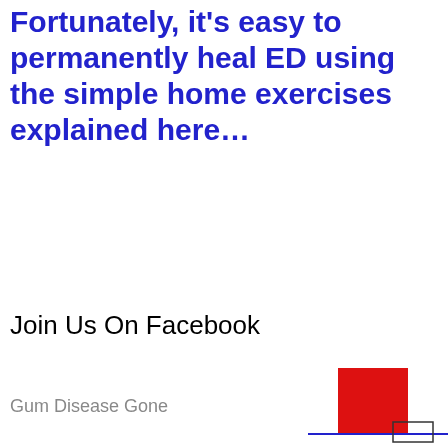Fortunately, it's easy to permanently heal ED using the simple home exercises explained here…
Join Us On Facebook
Gum Disease Gone
[Figure (other): Partial image visible at bottom right corner, red rectangle shape with blue line, appears to be a cropped advertisement or banner image]